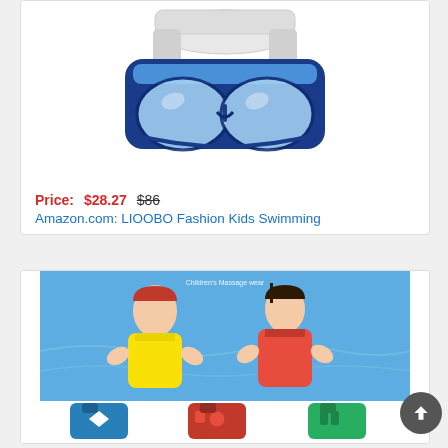[Figure (photo): Blue and white swimming goggles for kids (LIOOBO brand), product photo on white background]
Price: $28.27   $86
Amazon.com: LIOOBO Fashion Kids Swimming
[Figure (photo): Children wearing colorful life jackets/swim vests in water, with additional vest products shown below in blue, red, and green]